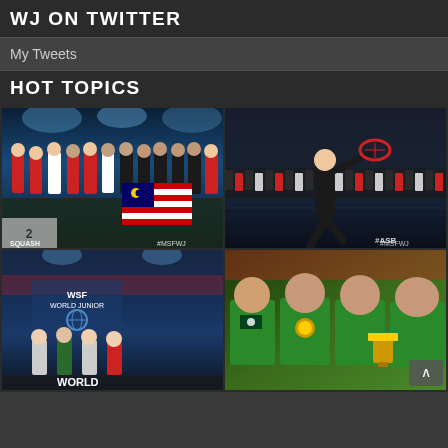WJ ON TWITTER
My Tweets
HOT TOPICS
[Figure (photo): Group photo of squash teams at World Junior Championships with players holding Malaysian and Egyptian flags on an indoor squash court. #MSFWJ watermark.]
[Figure (photo): Squash player in action shot on court with crowd watching in background. #MSFWJ watermark. ASB branding visible.]
[Figure (photo): WSF World Junior Championships podium ceremony with officials and players. WORLD text visible at bottom.]
[Figure (photo): Four young Pakistani squash players in green uniforms holding medals and trophy, smiling at camera.]